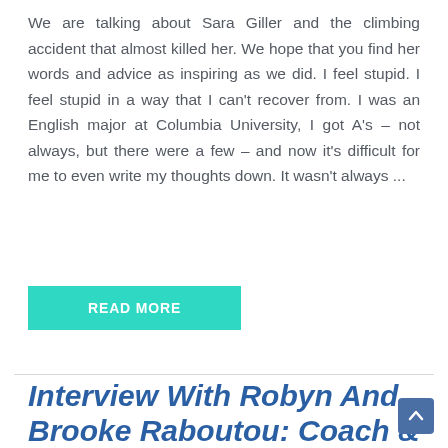We are talking about Sara Giller and the climbing accident that almost killed her. We hope that you find her words and advice as inspiring as we did. I feel stupid. I feel stupid in a way that I can't recover from. I was an English major at Columbia University, I got A's – not always, but there were a few – and now it's difficult for me to even write my thoughts down. It wasn't always ...
READ MORE
Interview With Robyn And Brooke Raboutou: Coach & Climber, Mother & Daughter